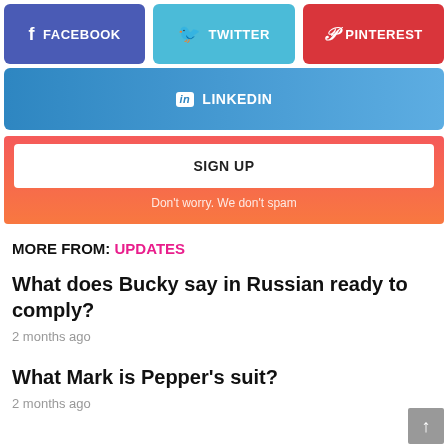[Figure (infographic): Social share buttons: Facebook (purple), Twitter (light blue), Pinterest (red), LinkedIn (blue gradient)]
SIGN UP
Don't worry. We don't spam
MORE FROM: UPDATES
What does Bucky say in Russian ready to comply?
2 months ago
What Mark is Pepper's suit?
2 months ago